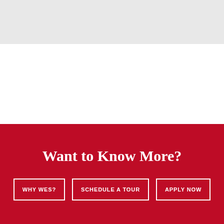[Figure (other): Light gray banner area at the top of the page]
Want to Know More?
WHY WES?
SCHEDULE A TOUR
APPLY NOW